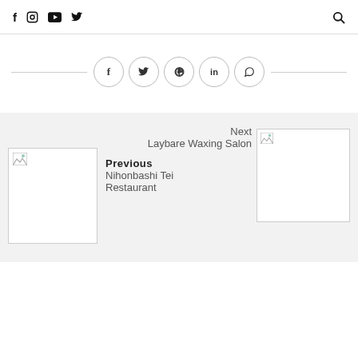f  instagram  youtube  twitter  [search]
[Figure (other): Social share buttons: Facebook, Twitter, Pinterest, LinkedIn, WhatsApp in circular outlines]
Next
Laybare Waxing Salon
Previous
Nihonbashi Tei Restaurant
[Figure (photo): Broken image placeholder for Previous post (Nihonbashi Tei Restaurant)]
[Figure (photo): Broken image placeholder for Next post (Laybare Waxing Salon)]